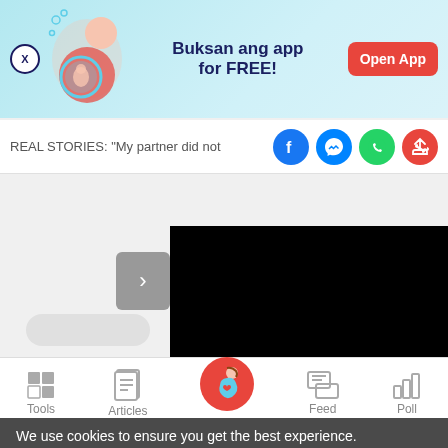[Figure (screenshot): App promotion banner with pregnant woman illustration, text 'Buksan ang app for FREE!' and 'Open App' button]
REAL STORIES: "My partner did not
[Figure (screenshot): Social share icons: Facebook, Messenger, WhatsApp, Share]
[Figure (screenshot): Black video player area with arrow navigation button and white pill element]
[Figure (screenshot): Bottom navigation bar with Tools, Articles, Home (pregnant woman icon), Feed, Poll]
We use cookies to ensure you get the best experience. Learn More   Ok, Got it